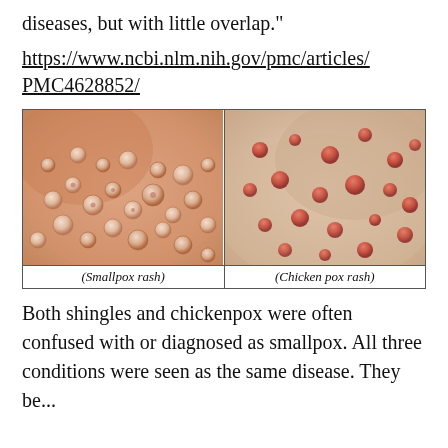diseases, but with little overlap."
https://www.ncbi.nlm.nih.gov/pmc/articles/PMC4628852/
[Figure (photo): Side-by-side medical photos: left shows Smallpox rash (dense, uniform pustules on skin), right shows Chicken pox rash (scattered, irregular red lesions on skin). Captions: (Smallpox rash) and (Chicken pox rash).]
Both shingles and chickenpox were often confused with or diagnosed as smallpox. All three conditions were seen as the same disease. They be...